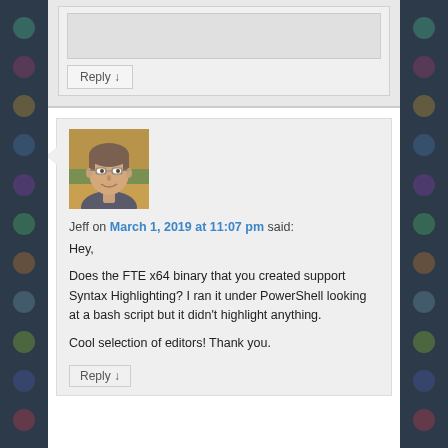[Figure (screenshot): Upper comment area with a Reply button visible at the top of the page]
[Figure (photo): Avatar photo of Jeff - a man with glasses and short hair smiling]
Jeff on March 1, 2019 at 11:07 pm said:
Hey,
Does the FTE x64 binary that you created support Syntax Highlighting? I ran it under PowerShell looking at a bash script but it didn't highlight anything.

Cool selection of editors! Thank you.
Reply ↓